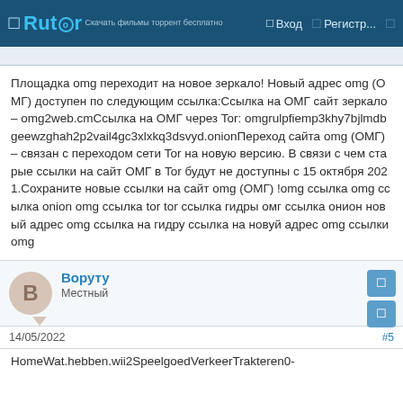Rutor | Вход | Регистр...
Площадка omg переходит на новое зеркало! Новый адрес omg (ОМГ) доступен по следующим ссылка:Ссылка на ОМГ сайт зеркало – omg2web.cmСсылка на ОМГ через Tor: omgrulpfiemp3khy7bjlmdbgeewzghah2p2vail4gc3xlxkq3dsvyd.onionПереход сайта omg (ОМГ) – связан с переходом сети Tor на новую версию. В связи с чем старые ссылки на сайт ОМГ в Tor будут не доступны с 15 октября 2021.Сохраните новые ссылки на сайт omg (ОМГ) !omg ссылка omg ссылка onion omg ссылка tor tor ссылка гидры омг ссылка онион новый адрес omg ссылка на гидру ссылка на новуй адрес omg ссылки omg
Воруту
Местный
14/05/2022 #5
HomeWat.hebben.wii2SpeelgoedVerkeerTrakteren0-